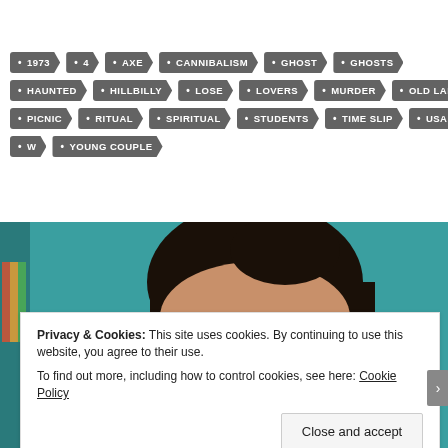• 1973  • 4  • AXE  • CANNIBALISM  • GHOST  • GHOSTS  • HAUNTED  • HILLBILLY  • LOSE  • LOVERS  • MURDER  • OLD LADY  • PICNIC  • RITUAL  • SPIRITUAL  • STUDENTS  • TIME SLIP  • USA  • W  • YOUNG COUPLE
[Figure (photo): Close-up photo of a young woman with dark hair pulled back, looking upward, against a teal/turquoise background. Partially obscured by a cookie consent banner overlay.]
Privacy & Cookies: This site uses cookies. By continuing to use this website, you agree to their use.
To find out more, including how to control cookies, see here: Cookie Policy
Close and accept